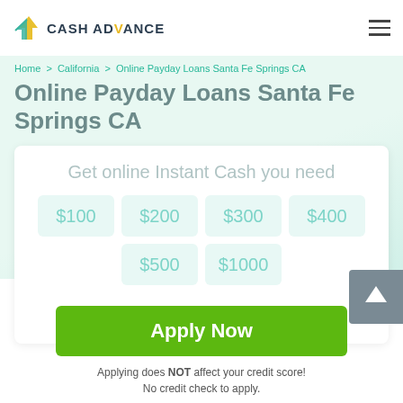[Figure (logo): Cash Advance logo with arrow icon and text CASH ADVANCE]
Home > California > Online Payday Loans Santa Fe Springs CA
Online Payday Loans Santa Fe Springs CA
Get online Instant Cash you need
$100
$200
$300
$400
$500
$1000
Apply Now
Applying does NOT affect your credit score!
No credit check to apply.